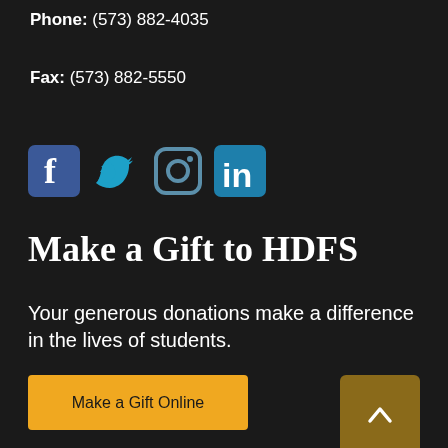Phone: (573) 882-4035
Fax: (573) 882-5550
[Figure (infographic): Social media icons: Facebook (blue), Twitter (blue bird), Instagram (blue camera outline), LinkedIn (blue)]
Make a Gift to HDFS
Your generous donations make a difference in the lives of students.
Make a Gift Online